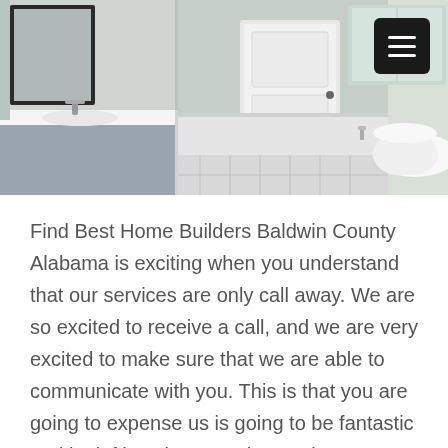[Figure (photo): Interior bathroom photo showing a vanity with mirror on the left, a white door in the center, and a freestanding white bathtub with a window on the right. Light gray walls with white wainscoting and marble tile floor.]
Find Best Home Builders Baldwin County Alabama is exciting when you understand that our services are only call away. We are so excited to receive a call, and we are very excited to make sure that we are able to communicate with you. This is that you are going to expense us is going to be fantastic and is deftly going to make you happy. We are